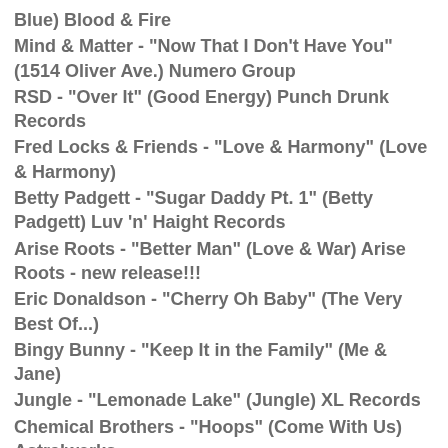Blue) Blood & Fire
Mind & Matter - "Now That I Don't Have You" (1514 Oliver Ave.) Numero Group
RSD - "Over It" (Good Energy) Punch Drunk Records
Fred Locks & Friends - "Love & Harmony" (Love & Harmony)
Betty Padgett - "Sugar Daddy Pt. 1" (Betty Padgett) Luv 'n' Haight Records
Arise Roots - "Better Man" (Love & War) Arise Roots - new release!!!
Eric Donaldson - "Cherry Oh Baby" (The Very Best Of...)
Bingy Bunny - "Keep It in the Family" (Me & Jane)
Jungle - "Lemonade Lake" (Jungle) XL Records
Chemical Brothers - "Hoops" (Come With Us) Astralwerks
24-Carat Black - "I'll Never Let You Go" (Gone: The Promises of Yesterday) Numero Group - new release!!!
The Bug - "The One" (Angels & Devils) Ninja Tune - new release!!!
Gaudi - "Ayahuasca Deep Dub" (Bass, Sweat & Tears) Six Degrees - new release!!!
Meat Beat Manifesto - "Children of Earth" (Autoimmune)